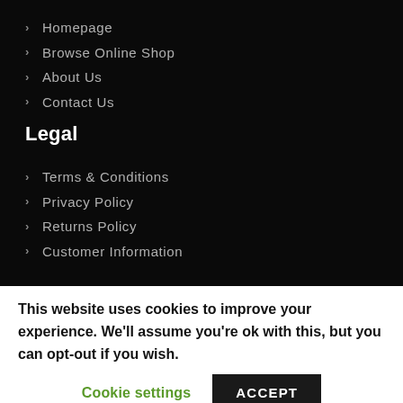> Homepage
> Browse Online Shop
> About Us
> Contact Us
Legal
> Terms & Conditions
> Privacy Policy
> Returns Policy
> Customer Information
This website uses cookies to improve your experience. We'll assume you're ok with this, but you can opt-out if you wish.
Cookie settings   ACCEPT